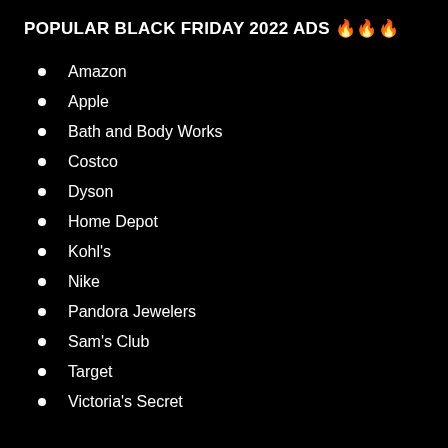POPULAR BLACK FRIDAY 2022 ADS 🔥🔥🔥
Amazon
Apple
Bath and Body Works
Costco
Dyson
Home Depot
Kohl's
Nike
Pandora Jewelers
Sam's Club
Target
Victoria's Secret